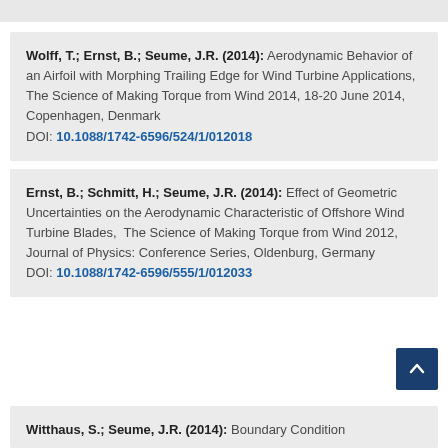Wolff, T.; Ernst, B.; Seume, J.R. (2014): Aerodynamic Behavior of an Airfoil with Morphing Trailing Edge for Wind Turbine Applications, The Science of Making Torque from Wind 2014, 18-20 June 2014, Copenhagen, Denmark DOI: 10.1088/1742-6596/524/1/012018
Ernst, B.; Schmitt, H.; Seume, J.R. (2014): Effect of Geometric Uncertainties on the Aerodynamic Characteristic of Offshore Wind Turbine Blades, The Science of Making Torque from Wind 2012, Journal of Physics: Conference Series, Oldenburg, Germany DOI: 10.1088/1742-6596/555/1/012033
Witthaus, S.; Seume, J.R. (2014): Boundary Condition